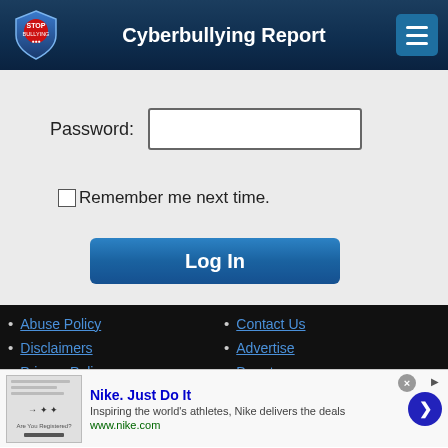Cyberbullying Report
Password:
Remember me next time.
Log In
Abuse Policy
Disclaimers
Privacy Policy
Terms of Use
Contact Us
Advertise
Donate
Technical Support
[Figure (screenshot): infolinks branding bar]
[Figure (screenshot): Nike advertisement - Nike. Just Do It - Inspiring the world's athletes, Nike delivers the deals - www.nike.com]